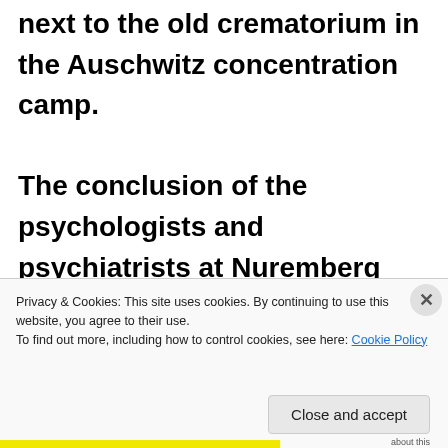next to the old crematorium in the Auschwitz concentration camp.
The conclusion of the psychologists and psychiatrists at Nuremberg was clear: they both decided that though Rudolf Höss was intelligent, he was mentally ill:
Privacy & Cookies: This site uses cookies. By continuing to use this website, you agree to their use.
To find out more, including how to control cookies, see here: Cookie Policy